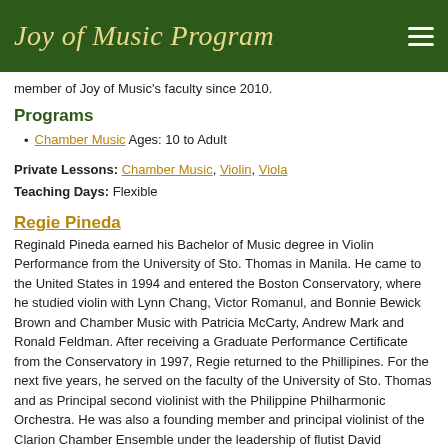Joy of Music Program
member of Joy of Music's faculty since 2010.
Programs
Chamber Music Ages: 10 to Adult
Private Lessons: Chamber Music, Violin, Viola
Teaching Days: Flexible
Regie Pineda
Reginald Pineda earned his Bachelor of Music degree in Violin Performance from the University of Sto. Thomas in Manila. He came to the United States in 1994 and entered the Boston Conservatory, where he studied violin with Lynn Chang, Victor Romanul, and Bonnie Bewick Brown and Chamber Music with Patricia McCarty, Andrew Mark and Ronald Feldman. After receiving a Graduate Performance Certificate from the Conservatory in 1997, Regie returned to the Phillipines. For the next five years, he served on the faculty of the University of Sto. Thomas and as Principal second violinist with the Philippine Philharmonic Orchestra. He was also a founding member and principal violinist of the Clarion Chamber Ensemble under the leadership of flutist David Johnson.